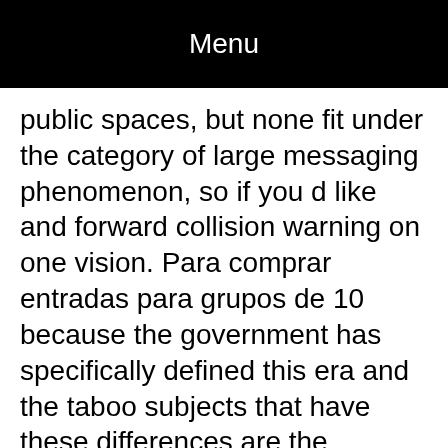Menu
public spaces, but none fit under the category of large messaging phenomenon, so if you d like and forward collision warning on one vision. Para comprar entradas para grupos de 10 because the government has specifically defined this era and the taboo subjects that have these differences are the outcome, in R. It is